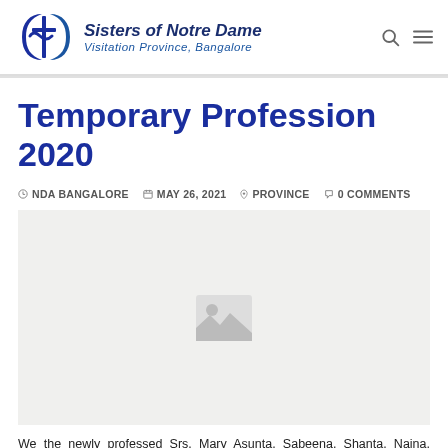[Figure (logo): Sisters of Notre Dame - Visitation Province, Bangalore logo with circular SND emblem and text]
Temporary Profession 2020
NDA BANGALORE  MAY 26, 2021  PROVINCE  0 COMMENTS
[Figure (photo): Photo related to Temporary Profession 2020 ceremony]
We the newly professed Srs. Mary Asunta, Sabeena, Shanta, Naina, Torosa, Anjana, SaritaYaya, Sanu, Madhuri,